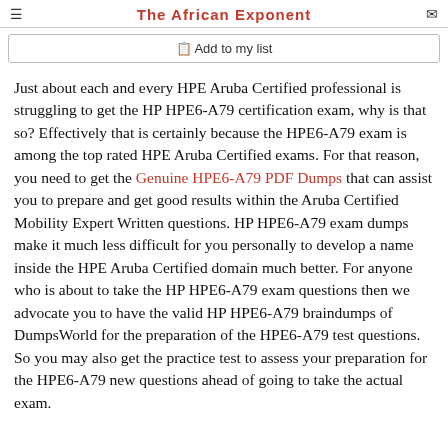The African Exponent
Add to my list
Just about each and every HPE Aruba Certified professional is struggling to get the HP HPE6-A79 certification exam, why is that so? Effectively that is certainly because the HPE6-A79 exam is among the top rated HPE Aruba Certified exams. For that reason, you need to get the Genuine HPE6-A79 PDF Dumps that can assist you to prepare and get good results within the Aruba Certified Mobility Expert Written questions. HP HPE6-A79 exam dumps make it much less difficult for you personally to develop a name inside the HPE Aruba Certified domain much better. For anyone who is about to take the HP HPE6-A79 exam questions then we advocate you to have the valid HP HPE6-A79 braindumps of DumpsWorld for the preparation of the HPE6-A79 test questions. So you may also get the practice test to assess your preparation for the HPE6-A79 new questions ahead of going to take the actual exam.